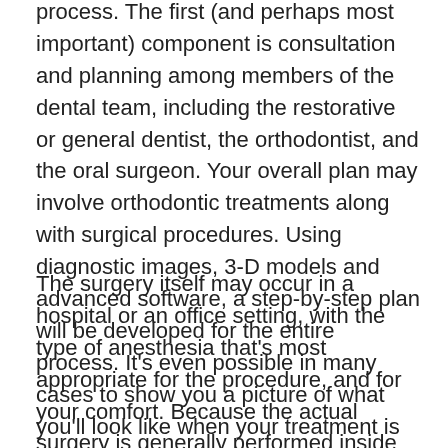process. The first (and perhaps most important) component is consultation and planning among members of the dental team, including the restorative or general dentist, the orthodontist, and the oral surgeon. Your overall plan may involve orthodontic treatments along with surgical procedures. Using diagnostic images, 3-D models and advanced software, a step-by-step plan will be developed for the entire process. It's even possible in many cases to show you a picture of what you'll look like when your treatment is finished.
The surgery itself may occur in a hospital or an office setting, with the type of anesthesia that's most appropriate for the procedure, and for your comfort. Because the actual surgery is generally performed inside the mouth, it often leaves no visible scars on the face, and most patients are...